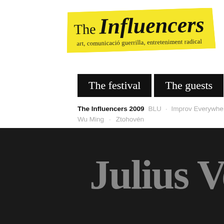[Figure (logo): The Influencers logo on yellow tape-style background with tagline: art, comunicació guerrilla, entreteniment radical]
The festival | The guests | Influ Lab
The Influencers 2009   BLU   Improv Everywhere   Julius V...   Wu Ming   Ztohovén
Julius Ve